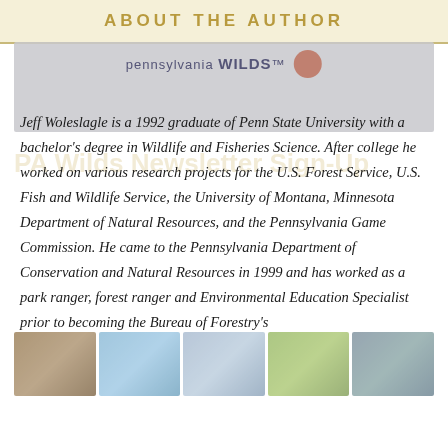ABOUT THE AUTHOR
[Figure (logo): Pennsylvania WILDS logo with circular emblem]
Jeff Woleslagle is a 1992 graduate of Penn State University with a bachelor's degree in Wildlife and Fisheries Science. After college he worked on various research projects for the U.S. Forest Service, U.S. Fish and Wildlife Service, the University of Montana, Minnesota Department of Natural Resources, and the Pennsylvania Game Commission. He came to the Pennsylvania Department of Conservation and Natural Resources in 1999 and has worked as a park ranger, forest ranger and Environmental Education Specialist prior to becoming the Bureau of Forestry's